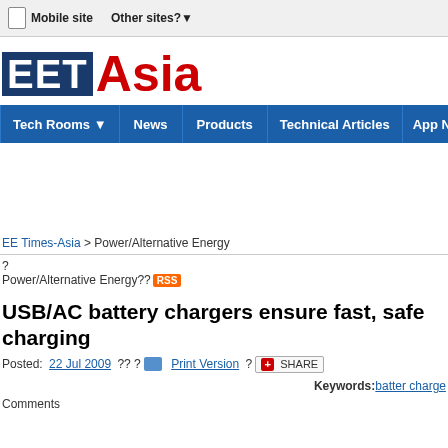Mobile site   Other sites?
[Figure (logo): EET Asia logo — dark blue box with white text 'EET' followed by red 'Asia']
Tech Rooms | News | Products | Technical Articles | App No
EE Times-Asia > Power/Alternative Energy
? Power/Alternative Energy?? RSS
USB/AC battery chargers ensure fast, safe charging
Posted: 22 Jul 2009 ?? ? Print Version ? SHARE
Keywords: batter charge